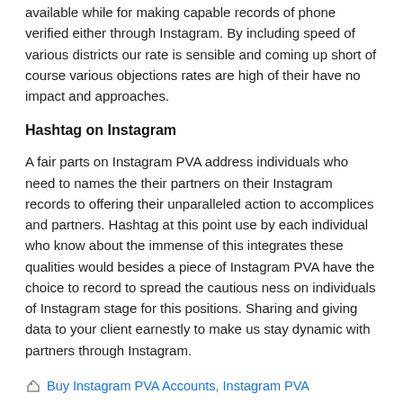available while for making capable records of phone verified either through Instagram. By including speed of various districts our rate is sensible and coming up short of course various objections rates are high of their have no impact and approaches.
Hashtag on Instagram
A fair parts on Instagram PVA address individuals who need to names the their partners on their Instagram records to offering their unparalleled action to accomplices and partners. Hashtag at this point use by each individual who know about the immense of this integrates these qualities would besides a piece of Instagram PVA have the choice to record to spread the cautious ness on individuals of Instagram stage for this positions. Sharing and giving data to your client earnestly to make us stay dynamic with partners through Instagram.
Buy Instagram PVA Accounts, Instagram PVA